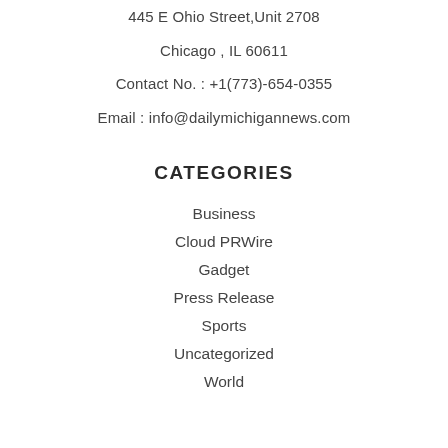445 E Ohio Street,Unit 2708
Chicago  , IL 60611
Contact No. : +1(773)-654-0355
Email : info@dailymichigannews.com
CATEGORIES
Business
Cloud PRWire
Gadget
Press Release
Sports
Uncategorized
World